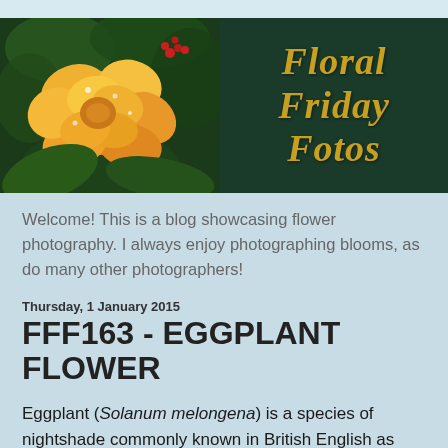[Figure (photo): Banner image for 'Floral Friday Fotos' blog. Left side shows a close-up photo of an orange/yellow rose with water droplets against a dark green leafy background. Right side shows the blog title 'Floral Friday Fotos' in gold italic serif font on a dark green background.]
Welcome! This is a blog showcasing flower photography. I always enjoy photographing blooms, as do many other photographers!
Thursday, 1 January 2015
FFF163 - EGGPLANT FLOWER
Eggplant (Solanum melongena) is a species of nightshade commonly known in British English as aubergine and also known as melongene, garden egg, or guinea squash. It is known in South Asia, Southeast Asia and South Africa as brinjal. It bears a fruit of the same name (commonly either "eggplant" in American, Australian English and sometimes